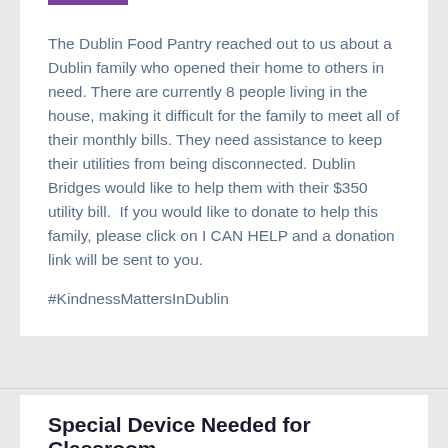The Dublin Food Pantry reached out to us about a Dublin family who opened their home to others in need. There are currently 8 people living in the house, making it difficult for the family to meet all of their monthly bills. They need assistance to keep their utilities from being disconnected. Dublin Bridges would like to help them with their $350 utility bill.  If you would like to donate to help this family, please click on I CAN HELP and a donation link will be sent to you.
#KindnessMattersInDublin
Special Device Needed for Classroom